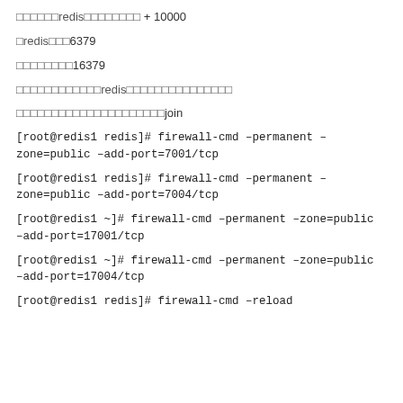□□□□□□redis□□□□□□□□ + 10000
□redis□□□6379
□□□□□□□□16379
□□□□□□□□□□□□redis□□□□□□□□□□□□□□□
□□□□□□□□□□□□□□□□□□□□□join
[root@redis1 redis]# firewall-cmd –permanent –zone=public –add-port=7001/tcp
[root@redis1 redis]# firewall-cmd –permanent –zone=public –add-port=7004/tcp
[root@redis1 ~]# firewall-cmd –permanent –zone=public –add-port=17001/tcp
[root@redis1 ~]# firewall-cmd –permanent –zone=public –add-port=17004/tcp
[root@redis1 redis]# firewall-cmd –reload